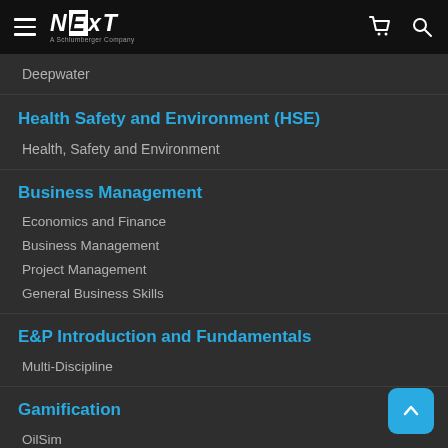NEXT — A Schlumberger Company (navigation bar with cart and search icons)
Deepwater
Health Safety and Environment (HSE)
Health, Safety and Environment
Business Management
Economics and Finance
Business Management
Project Management
General Business Skills
E&P Introduction and Fundamentals
Multi-Discipline
Gamification
OilSim